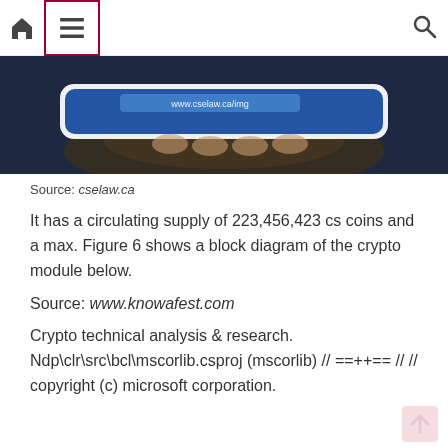Home | Menu | Search
[Figure (photo): A hand holding a tablet device with a blue banner/screen visible at the top edge of the photo, dark background.]
Source: cselaw.ca
It has a circulating supply of 223,456,423 cs coins and a max. Figure 6 shows a block diagram of the crypto module below.
Source: www.knowafest.com
Crypto technical analysis & research. Ndp\clr\src\bcl\mscorlib.csproj (mscorlib) // ==++== // // copyright (c) microsoft corporation.